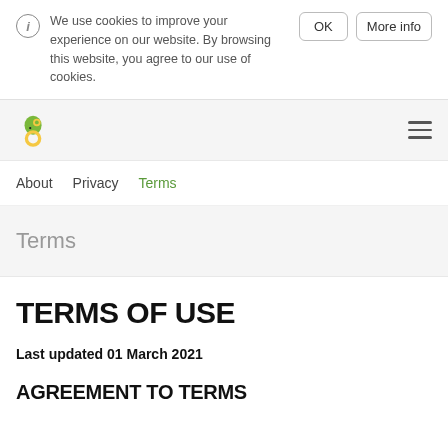We use cookies to improve your experience on our website. By browsing this website, you agree to our use of cookies.
About  Privacy  Terms
Terms
TERMS OF USE
Last updated 01 March 2021
AGREEMENT TO TERMS